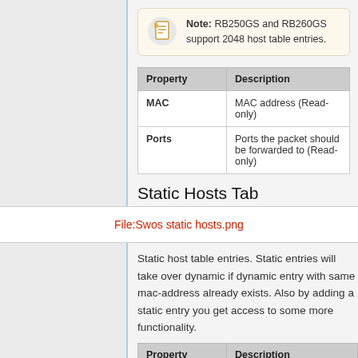Note: RB250GS and RB260GS support 2048 host table entries.
| Property | Description |
| --- | --- |
| MAC | MAC address (Read-only) |
| Ports | Ports the packet should be forwarded to (Read-only) |
Static Hosts Tab
[Figure (screenshot): File:Swos static hosts.png placeholder]
Static host table entries. Static entries will take over dynamic if dynamic entry with same mac-address already exists. Also by adding a static entry you get access to some more functionality.
| Property | Description |
| --- | --- |
| MAC | MAC address |